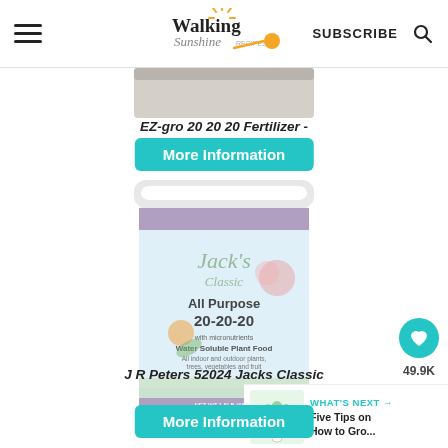Walking Sunshine Recipes — SUBSCRIBE
[Figure (photo): Partial view of EZ-gro 20 20 20 Fertilizer product container]
EZ-gro 20 20 20 Fertilizer -
More Information
[Figure (photo): Jack's Classic All Purpose 20-20-20 Water Soluble Plant Food container by J R Peters, white cylindrical tub with purple and light blue label, featuring flowers and vegetables]
J R Peters 52024 Jacks Classic
More Information